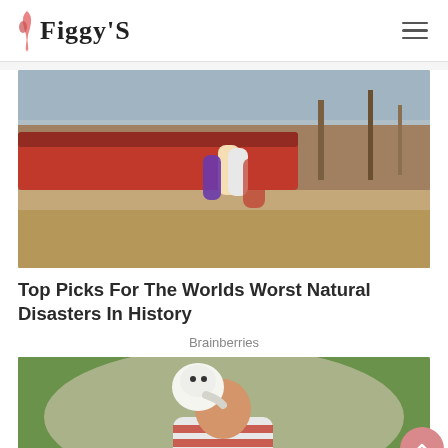Figgy'S
[Figure (photo): People pushing or holding onto boats on a sandy beach during a storm or natural disaster, with stormy sky in background]
Top Picks For The Worlds Worst Natural Disasters In History
Brainberries
[Figure (photo): A white albino monkey/primate touching the head of a child wearing a red and white striped shirt, with green foliage in background]